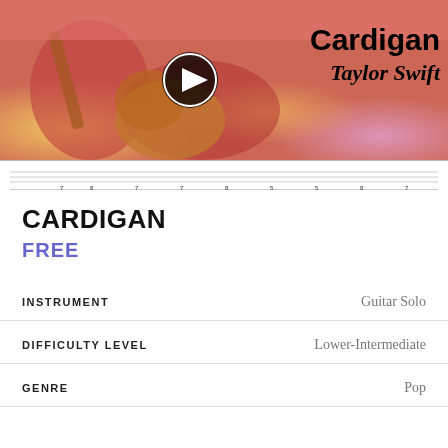[Figure (photo): Thumbnail image of a person playing guitar with warm bokeh background, overlaid with play button icon and text 'Cardigan Taylor Swift', plus a guitar tablature strip at the bottom]
CARDIGAN
FREE
| INSTRUMENT | Guitar Solo |
| DIFFICULTY LEVEL | Lower-Intermediate |
| GENRE | Pop |